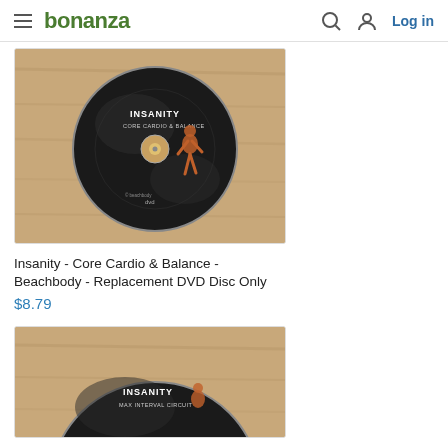bonanza  Log in
[Figure (photo): Insanity Core Cardio & Balance DVD disc on a wooden surface]
Insanity - Core Cardio & Balance - Beachbody - Replacement DVD Disc Only
$8.79
[Figure (photo): Insanity Max Interval Circuit DVD disc on a wooden surface (partially visible)]